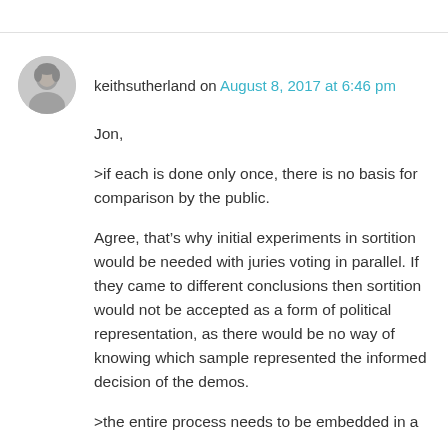keithsutherland on August 8, 2017 at 6:46 pm
Jon,
>if each is done only once, there is no basis for comparison by the public.
Agree, that’s why initial experiments in sortition would be needed with juries voting in parallel. If they came to different conclusions then sortition would not be accepted as a form of political representation, as there would be no way of knowing which sample represented the informed decision of the demos.
>the entire process needs to be embedded in a